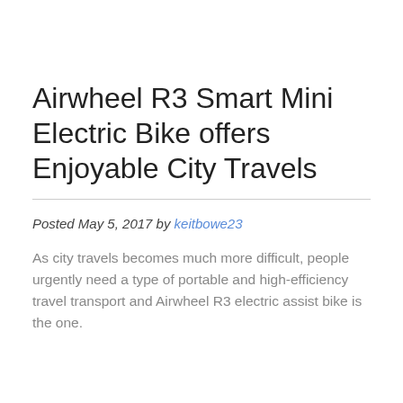Airwheel R3 Smart Mini Electric Bike offers Enjoyable City Travels
Posted May 5, 2017 by keitbowe23
As city travels becomes much more difficult, people urgently need a type of portable and high-efficiency travel transport and Airwheel R3 electric assist bike is the one.